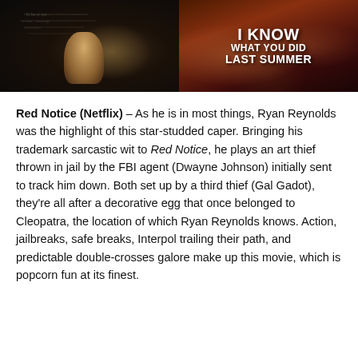[Figure (photo): Two side-by-side images: left shows a person at a desk in a dark chalkboard-lit room; right shows a movie poster for 'I Know What You Did Last Summer']
Red Notice (Netflix) – As he is in most things, Ryan Reynolds was the highlight of this star-studded caper. Bringing his trademark sarcastic wit to Red Notice, he plays an art thief thrown in jail by the FBI agent (Dwayne Johnson) initially sent to track him down. Both set up by a third thief (Gal Gadot), they're all after a decorative egg that once belonged to Cleopatra, the location of which Ryan Reynolds knows. Action, jailbreaks, safe breaks, Interpol trailing their path, and predictable double-crosses galore make up this movie, which is popcorn fun at its finest.